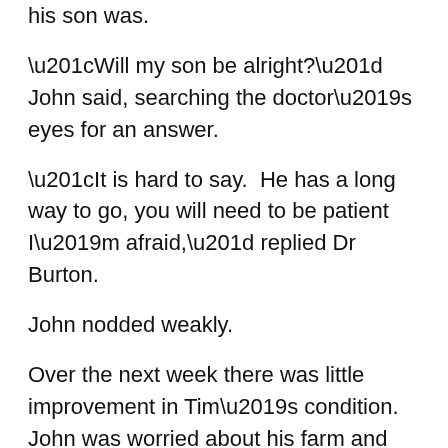his son was.
“Will my son be alright?” John said, searching the doctor’s eyes for an answer.
“It is hard to say.  He has a long way to go, you will need to be patient I’m afraid,” replied Dr Burton.
John nodded weakly.
Over the next week there was little improvement in Tim’s condition.  John was worried about his farm and about how Sarah was managing, but he knew his place was with his son.
John asked James if he would go and check on Sarah and her little sister.  As he had leave due to him James quickly obliged, he wanted to do what he